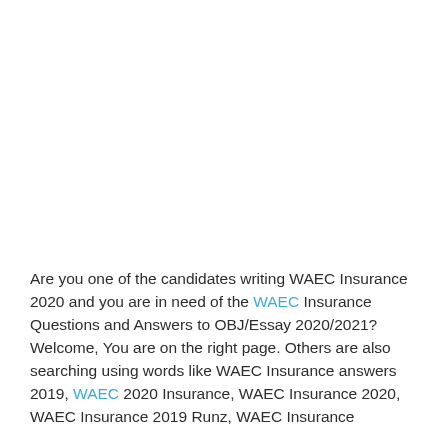Are you one of the candidates writing WAEC Insurance 2020 and you are in need of the WAEC Insurance Questions and Answers to OBJ/Essay 2020/2021? Welcome, You are on the right page. Others are also searching using words like WAEC Insurance answers 2019, WAEC 2020 Insurance, WAEC Insurance 2020, WAEC Insurance 2019 Runz, WAEC Insurance